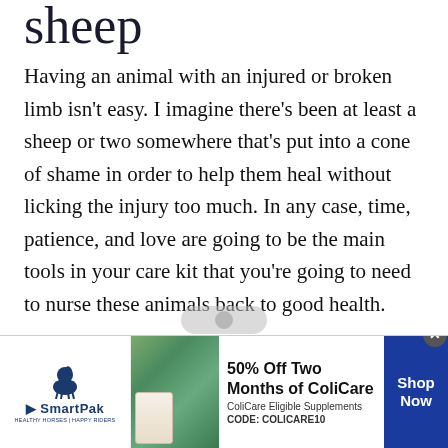sheep
Having an animal with an injured or broken limb isn't easy. I imagine there's been at least a sheep or two somewhere that's put into a cone of shame in order to help them heal without licking the injury too much. In any case, time, patience, and love are going to be the main tools in your care kit that you're going to need to nurse these animals back to good health.
But hey – they're part of your homestead. So they're worth it. Happy homesteading!
[Figure (advertisement): SmartPak advertisement: 50% Off Two Months of ColiCare. ColiCare Eligible Supplements. CODE: COLICARE10. Shop Now button. Features SmartPak logo with horse icon and tagline HEALTHY HORSES | HAPPY RIDERS.]